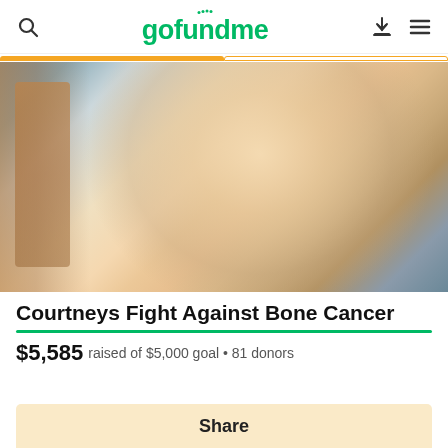gofundme
[Figure (photo): Close-up photo of a young woman with a shaved head, prominent eyelashes, and a neutral expression, shown against a light background with a wooden frame element]
Courtneys Fight Against Bone Cancer
$5,585 raised of $5,000 goal • 81 donors
Share